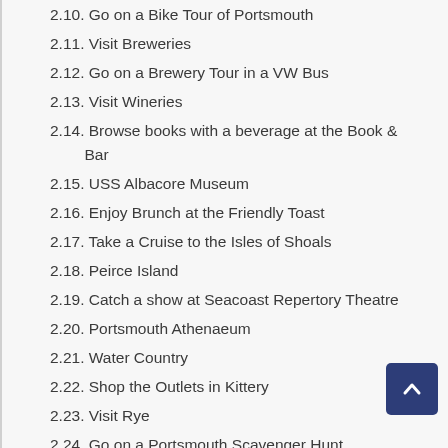2.10. Go on a Bike Tour of Portsmouth
2.11. Visit Breweries
2.12. Go on a Brewery Tour in a VW Bus
2.13. Visit Wineries
2.14. Browse books with a beverage at the Book & Bar
2.15. USS Albacore Museum
2.16. Enjoy Brunch at the Friendly Toast
2.17. Take a Cruise to the Isles of Shoals
2.18. Peirce Island
2.19. Catch a show at Seacoast Repertory Theatre
2.20. Portsmouth Athenaeum
2.21. Water Country
2.22. Shop the Outlets in Kittery
2.23. Visit Rye
2.24. Go on a Portsmouth Scavenger Hunt
2.25. Take a Self-Guided Haunted Walking Tour
2.26. Head to the Beach
2.27. Take a Tea Blending Class